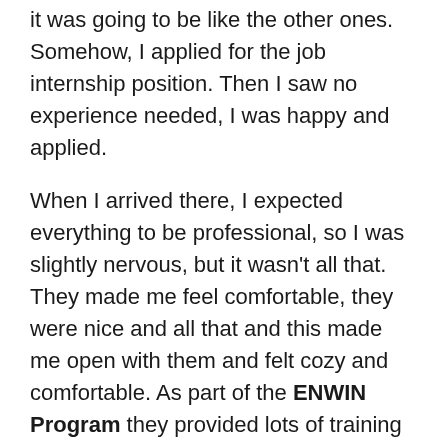it was going to be like the other ones. Somehow, I applied for the job internship position. Then I saw no experience needed, I was happy and applied.
When I arrived there, I expected everything to be professional, so I was slightly nervous, but it wasn't all that. They made me feel comfortable, they were nice and all that and this made me open with them and felt cozy and comfortable. As part of the ENWIN Program they provided lots of training for us. some I never thought I needed.
My main goal was to study Nursing, so I was looking for a placement in my field. I will have experience in what I'm going for and